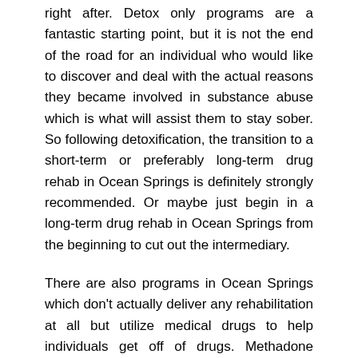right after. Detox only programs are a fantastic starting point, but it is not the end of the road for an individual who would like to discover and deal with the actual reasons they became involved in substance abuse which is what will assist them to stay sober. So following detoxification, the transition to a short-term or preferably long-term drug rehab in Ocean Springs is definitely strongly recommended. Or maybe just begin in a long-term drug rehab in Ocean Springs from the beginning to cut out the intermediary.
There are also programs in Ocean Springs which don't actually deliver any rehabilitation at all but utilize medical drugs to help individuals get off of drugs. Methadone centers for example have been established for some time, first used with the intention to assist heroin addicts stop drug seeking behavior and prevent consequences of heroin use such as criminal activity and its penalties along with health effects. Most of these facilities which now include buprenorphine as well as some other drugs are called opioid maintenance therapy, and this therapy now addresses problems associated with prescription medication abuse because these drugs are now abused at similar rates to heroin these days. The main reason many